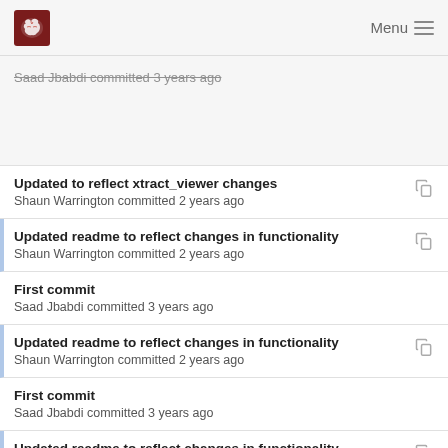Menu
Saad Jbabdi committed 3 years ago
Updated to reflect xtract_viewer changes
Shaun Warrington committed 2 years ago
Updated readme to reflect changes in functionality
Shaun Warrington committed 2 years ago
First commit
Saad Jbabdi committed 3 years ago
Updated readme to reflect changes in functionality
Shaun Warrington committed 2 years ago
First commit
Saad Jbabdi committed 3 years ago
Updated readme to reflect changes in functionality